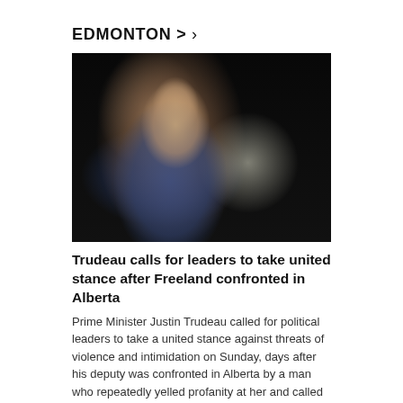EDMONTON >
[Figure (photo): Close-up photograph of Prime Minister Justin Trudeau against a dark/black background, wearing a blue blazer and white shirt, with a blurred white light source visible behind him.]
Trudeau calls for leaders to take united stance after Freeland confronted in Alberta
Prime Minister Justin Trudeau called for political leaders to take a united stance against threats of violence and intimidation on Sunday, days after his deputy was confronted in Alberta by a man who repeatedly yelled profanity at her and called her a traitor.
5 h r s a g o